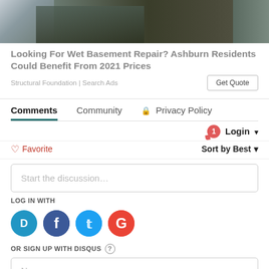[Figure (photo): Aerial or close-up photo of dark soil/ground with blue tarp/fabric, basement or foundation area]
Looking For Wet Basement Repair? Ashburn Residents Could Benefit From 2021 Prices
Structural Foundation | Search Ads
Get Quote
Comments   Community   Privacy Policy
Login
Favorite   Sort by Best
Start the discussion...
LOG IN WITH
[Figure (logo): Social login icons: Disqus (D), Facebook (f), Twitter bird, Google (G)]
OR SIGN UP WITH DISQUS ?
Name